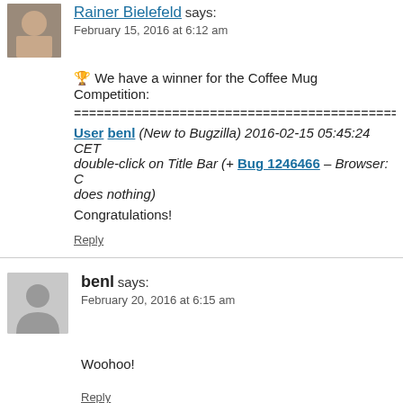Rainer Bielefeld says:
February 15, 2016 at 6:12 am
🏆 We have a winner for the Coffee Mug Competition:
===========================================...
User benl (New to Bugzilla) 2016-02-15 05:45:24 CET double-click on Title Bar (+ Bug 1246466 – Browser: C does nothing)
Congratulations!
Reply
benl says:
February 20, 2016 at 6:15 am
Woohoo!
Reply